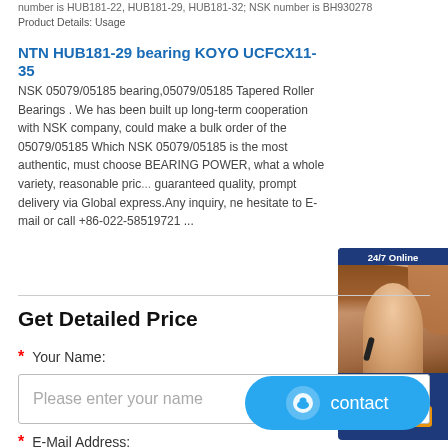number is HUB181-22, HUB181-29, HUB181-32; NSK number is BH930278
Product Details: Usage
NTN HUB181-29 bearing KOYO UCFCX11-35
NSK 05079/05185 bearing,05079/05185 Tapered Roller Bearings . We has been built up long-term cooperation with NSK company, could make a bulk order of the 05079/05185 Which NSK 05079/05185 is the most authentic, must choose BEARING POWER, what a whole variety, reasonable price, guaranteed quality, prompt delivery via Global express.Any inquiry, never hesitate to E-mail or call +86-022-58519721 ...
[Figure (photo): 24/7 Online chat widget with a woman wearing a headset, with text 'Enter any requests, click here.' and an orange 'Quotation' button]
Get Detailed Price
* Your Name:
Please enter your name
* E-Mail Address:
Please enter your e-mail
[Figure (other): Blue contact button with chat icon and 'contact' text]